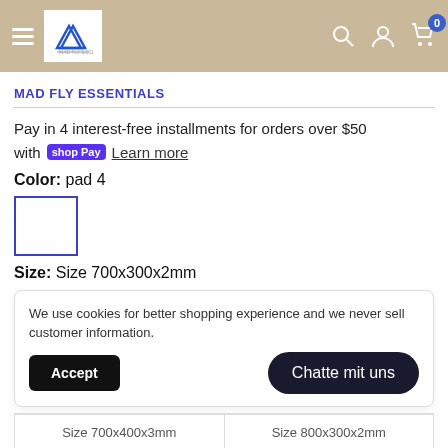Mad Fly Essentials - Navigation header with hamburger menu, logo, search, account, and cart icons
MAD FLY ESSENTIALS
Pay in 4 interest-free installments for orders over $50 with shop Pay Learn more
Color:  pad 4
[Figure (other): White color swatch with blue border]
Size:  Size 700x300x2mm
We use cookies for better shopping experience and we never sell customer information.
Size 700x400x3mm
Size 800x300x2mm